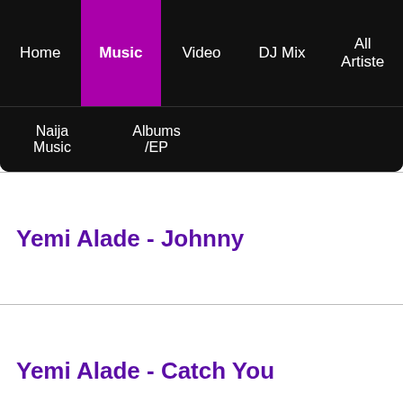Home | Music | Video | DJ Mix | All Artiste
Naija Music | Albums /EP
Yemi Alade - Johnny
Yemi Alade - Catch You
Yemi Alade - Begging
Yemi Alade - You